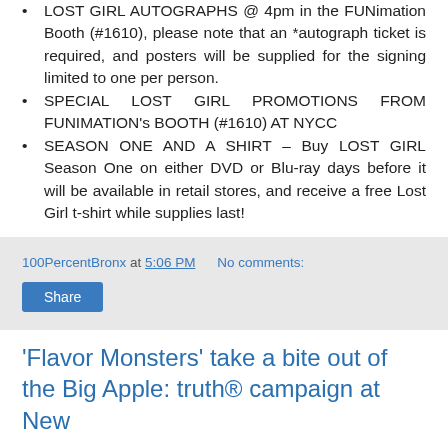LOST GIRL AUTOGRAPHS @ 4pm in the FUNimation Booth (#1610), please note that an *autograph ticket is required, and posters will be supplied for the signing limited to one per person.
SPECIAL LOST GIRL PROMOTIONS FROM FUNIMATION's BOOTH (#1610) AT NYCC
SEASON ONE AND A SHIRT – Buy LOST GIRL Season One on either DVD or Blu-ray days before it will be available in retail stores, and receive a free Lost Girl t-shirt while supplies last!
100PercentBronx at 5:06 PM    No comments:
'Flavor Monsters' take a bite out of the Big Apple: truth® campaign at New York Comic Con September 4th – 6th N...